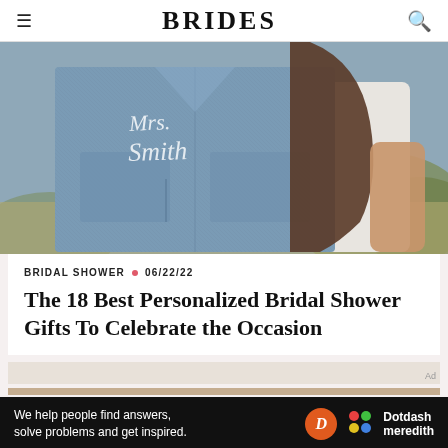BRIDES
[Figure (photo): Close-up photo of a woman wearing a denim jacket with 'Mrs. Smith' written in white cursive script on the back, outdoors with greenery in background]
BRIDAL SHOWER • 06/22/22
The 18 Best Personalized Bridal Shower Gifts To Celebrate the Occasion
[Figure (other): Advertisement banner - Dotdash Meredith: We help people find answers, solve problems and get inspired.]